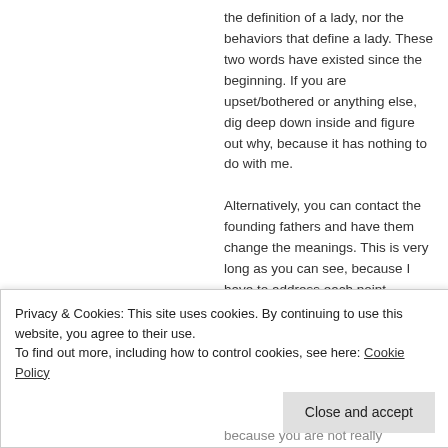the definition of a lady, nor the behaviors that define a lady. These two words have existed since the beginning. If you are upset/bothered or anything else, dig deep down inside and figure out why, because it has nothing to do with me.
Alternatively, you can contact the founding fathers and have them change the meanings. This is very long as you can see, because I have to address each point precisely. The problem has nothing to
Privacy & Cookies: This site uses cookies. By continuing to use this website, you agree to their use.
To find out more, including how to control cookies, see here: Cookie Policy
because you are not really